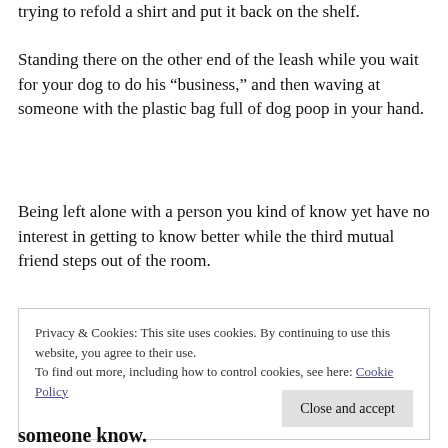trying to refold a shirt and put it back on the shelf.
Standing there on the other end of the leash while you wait for your dog to do his “business,” and then waving at someone with the plastic bag full of dog poop in your hand.
Being left alone with a person you kind of know yet have no interest in getting to know better while the third mutual friend steps out of the room.
The complex decision-making process of figuring out
Privacy & Cookies: This site uses cookies. By continuing to use this website, you agree to their use. To find out more, including how to control cookies, see here: Cookie Policy
someone know.